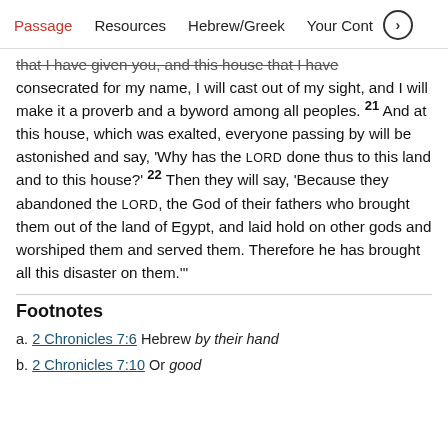Passage   Resources   Hebrew/Greek   Your Cont >
that I have given you, and this house that I have consecrated for my name, I will cast out of my sight, and I will make it a proverb and a byword among all peoples. 21 And at this house, which was exalted, everyone passing by will be astonished and say, ‘Why has the LORD done thus to this land and to this house?’ 22 Then they will say, ‘Because they abandoned the LORD, the God of their fathers who brought them out of the land of Egypt, and laid hold on other gods and worshiped them and served them. Therefore he has brought all this disaster on them.’”
Footnotes
a. 2 Chronicles 7:6 Hebrew by their hand
b. 2 Chronicles 7:10 Or good